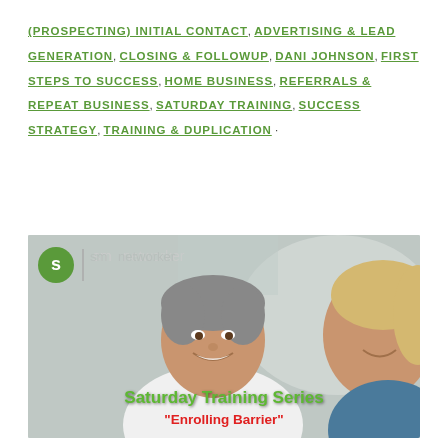(PROSPECTING) INITIAL CONTACT, ADVERTISING & LEAD GENERATION, CLOSING & FOLLOWUP, DANI JOHNSON, FIRST STEPS TO SUCCESS, HOME BUSINESS, REFERRALS & REPEAT BUSINESS, SATURDAY TRAINING, SUCCESS STRATEGY, TRAINING & DUPLICATION ·
[Figure (photo): A man in a white shirt smiling at camera with a woman partially visible on the right side. Background shows a smart networker logo/branding. Overlay text reads 'Saturday Training Series' in green and '"Enrolling Barrier"' in red.]